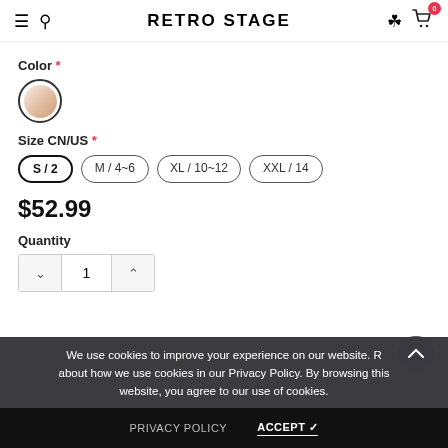RETRO STAGE
Color *
[Figure (other): Circular color swatch showing a beige/nude tone, with a black circular border, indicating a selected color option.]
Size CN/US *
S / 2
M / 4~6
XL / 10~12
XXL / 14
$52.99
Quantity
We use cookies to improve your experience on our website. R... about how we use cookies in our Privacy Policy. By browsing this website, you agree to our use of cookies.
PRIVACY POLICY
ACCEPT ✓